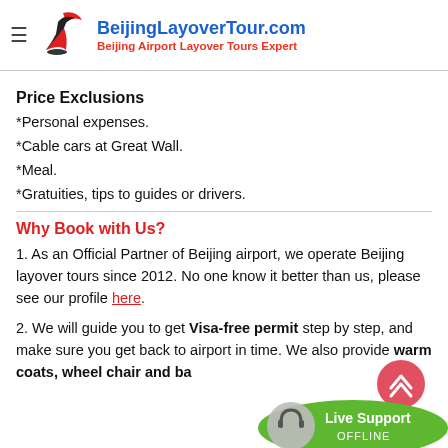BeijingLayoverTour.com — Beijing Airport Layover Tours Expert
Price Exclusions
*Personal expenses.
*Cable cars at Great Wall.
*Meal.
*Gratuities, tips to guides or drivers.
Why Book with Us?
1. As an Official Partner of Beijing airport, we operate Beijing layover tours since 2012. No one know it better than us, please see our profile here.
2. We will guide you to get Visa-free permit step by step, and make sure you get back to airport in time. We also provide warm coats, wheel chair and ba…